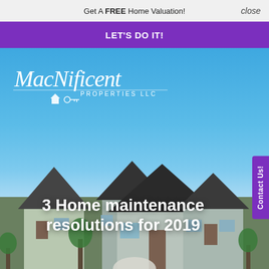Get A FREE Home Valuation!   close
LET'S DO IT!
[Figure (photo): MacNificent Properties LLC logo — white cursive text with a house-and-key icon on a blue sky background]
3 Home maintenance resolutions for 2019
Contact Us!